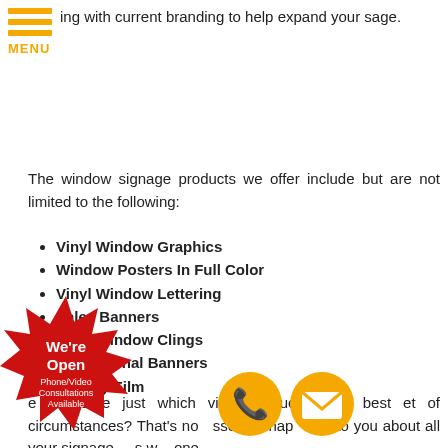[Figure (logo): Orange hamburger menu icon with three horizontal bars and 'MENU' text in orange below]
ing with current branding to help expand your sage.
The window signage products we offer include but are not limited to the following:
Vinyl Window Graphics
Window Posters In Full Color
Vinyl Window Lettering
Sales Banners
Vinyl Window Clings
Promotional Banners
Privacy Film
e not sure just which vinyl product would best et of circumstances? That's no   sse  e'll hap   alk to you about all your signage     s w    one
[Figure (illustration): Red starburst badge with 'We're Open Phone/Video Consultations Available' text]
[Figure (illustration): Orange circle phone icon]
[Figure (illustration): Orange circle email/envelope icon]